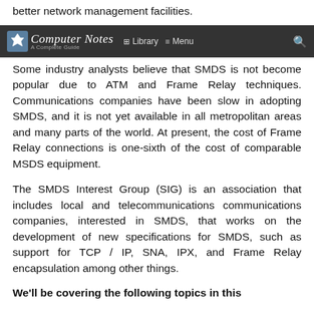better network management facilities.
Computer Notes — Library | Menu
Some industry analysts believe that SMDS is not become popular due to ATM and Frame Relay techniques. Communications companies have been slow in adopting SMDS, and it is not yet available in all metropolitan areas and many parts of the world. At present, the cost of Frame Relay connections is one-sixth of the cost of comparable MSDS equipment.
The SMDS Interest Group (SIG) is an association that includes local and telecommunications communications companies, interested in SMDS, that works on the development of new specifications for SMDS, such as support for TCP / IP, SNA, IPX, and Frame Relay encapsulation among other things.
We'll be covering the following topics in this